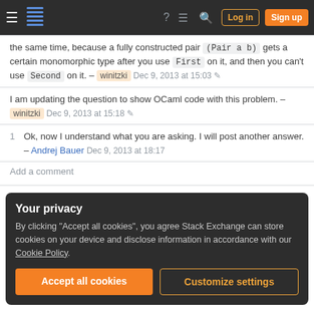Stack Exchange navigation bar with Log in and Sign up buttons
the same time, because a fully constructed pair (Pair a b) gets a certain monomorphic type after you use First on it, and then you can't use Second on it. – winitzki Dec 9, 2013 at 15:03
I am updating the question to show OCaml code with this problem. – winitzki Dec 9, 2013 at 15:18
1 Ok, now I understand what you are asking. I will post another answer. – Andrej Bauer Dec 9, 2013 at 18:17
Add a comment
Your privacy
By clicking "Accept all cookies", you agree Stack Exchange can store cookies on your device and disclose information in accordance with our Cookie Policy.
Accept all cookies
Customize settings